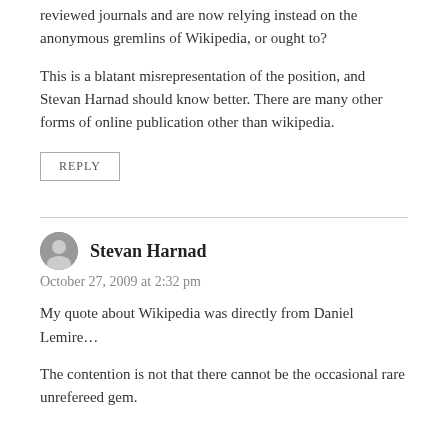reviewed journals and are now relying instead on the anonymous gremlins of Wikipedia, or ought to?
This is a blatant misrepresentation of the position, and Stevan Harnad should know better. There are many other forms of online publication other than wikipedia.
REPLY
Stevan Harnad
October 27, 2009 at 2:32 pm
My quote about Wikipedia was directly from Daniel Lemire...
The contention is not that there cannot be the occasional rare unrefereed gem.